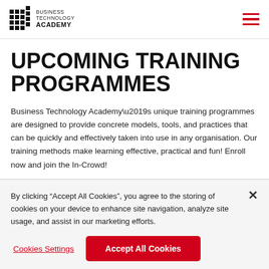BUSINESS TECHNOLOGY ACADEMY
UPCOMING TRAINING PROGRAMMES
Business Technology Academy’s unique training programmes are designed to provide concrete models, tools, and practices that can be quickly and effectively taken into use in any organisation. Our training methods make learning effective, practical and fun! Enroll now and join the In-Crowd!
By clicking “Accept All Cookies”, you agree to the storing of cookies on your device to enhance site navigation, analyze site usage, and assist in our marketing efforts.
Cookies Settings
Accept All Cookies